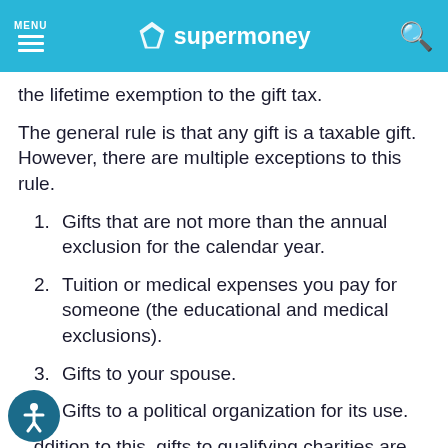MENU | supermoney | [search]
the lifetime exemption to the gift tax.
The general rule is that any gift is a taxable gift. However, there are multiple exceptions to this rule.
1. Gifts that are not more than the annual exclusion for the calendar year.
2. Tuition or medical expenses you pay for someone (the educational and medical exclusions).
3. Gifts to your spouse.
4. Gifts to a political organization for its use.
In addition to this, gifts to qualifying charities are